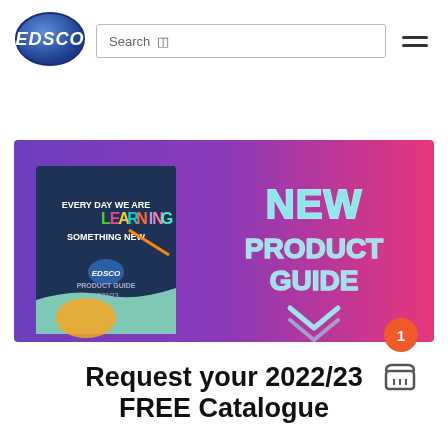[Figure (logo): EDSCO blue oval logo]
Search
[Figure (infographic): EDSCO New Product Guide banner with purple-to-pink gradient background. Left side shows a catalogue cover with 'Every day we are LEARNING something new' and EDSCO branding. Right side shows large text 'NEW PRODUCT GUIDE' with a downward chevron arrow.]
Request your 2022/23 FREE Catalogue